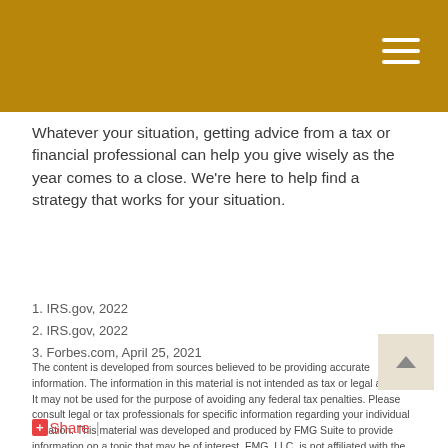Whatever your situation, getting advice from a tax or financial professional can help you give wisely as the year comes to a close. We're here to help find a strategy that works for your situation.
1. IRS.gov, 2022
2. IRS.gov, 2022
3. Forbes.com, April 25, 2021
The content is developed from sources believed to be providing accurate information. The information in this material is not intended as tax or legal advice. It may not be used for the purpose of avoiding any federal tax penalties. Please consult legal or tax professionals for specific information regarding your individual situation. This material was developed and produced by FMG Suite to provide information on a topic that may be of interest. FMG, LLC, is not affiliated with the named broker-dealer, state- or SEC-registered investment advisory firm. The opinions expressed and material provided are for general information, and should not be considered a solicitation for the purchase or sale of any security. Copyright 2022 FMG Suite.
Share |